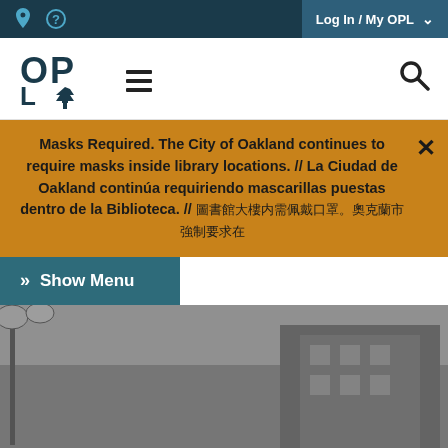Log In / My OPL
[Figure (logo): Oakland Public Library (OPL) logo with letters O, P, L and tree icon in dark teal/navy]
Masks Required. The City of Oakland continues to require masks inside library locations. // La Ciudad de Oakland continúa requiriendo mascarillas puestas dentro de la Biblioteca. // [Chinese text]
» Show Menu
[Figure (photo): Black and white photo of Oakland building/architecture with street lamp, overlaid with large white text 'Oakland']
Oakland